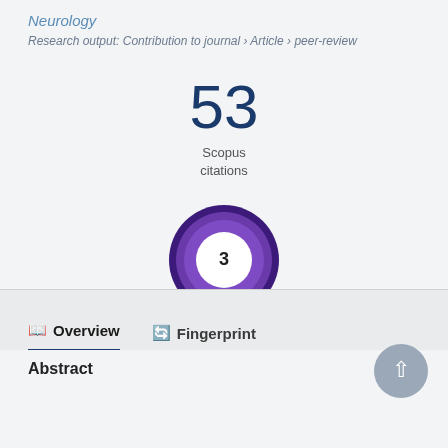Neurology
Research output: Contribution to journal › Article › peer-review
53 Scopus citations
[Figure (donut-chart): Donut chart showing the number 3 in the center, with a purple/violet gradient ring around it representing an Altmetric or similar score badge.]
Overview   Fingerprint
Abstract